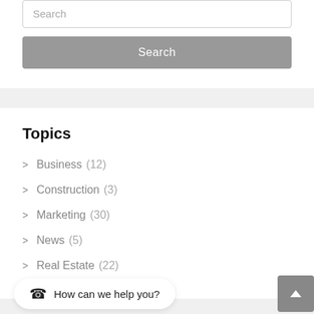Search
Search
Topics
Business (12)
Construction (3)
Marketing (30)
News (5)
Real Estate (22)
How can we help you?